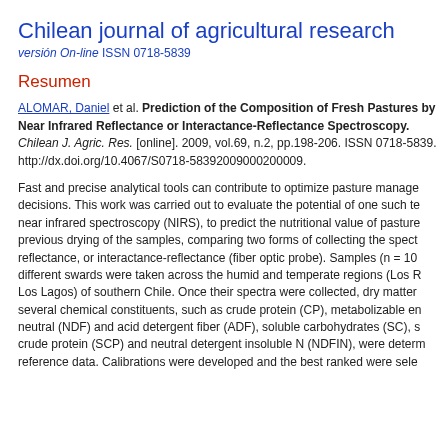Chilean journal of agricultural research
versión On-line ISSN 0718-5839
Resumen
ALOMAR, Daniel et al. Prediction of the Composition of Fresh Pastures by Near Infrared Reflectance or Interactance-Reflectance Spectroscopy. Chilean J. Agric. Res. [online]. 2009, vol.69, n.2, pp.198-206. ISSN 0718-5839. http://dx.doi.org/10.4067/S0718-58392009000200009.
Fast and precise analytical tools can contribute to optimize pasture management decisions. This work was carried out to evaluate the potential of one such technique, near infrared spectroscopy (NIRS), to predict the nutritional value of pastures without previous drying of the samples, comparing two forms of collecting the spectra: reflectance, or interactance-reflectance (fiber optic probe). Samples (n = 10) from different swards were taken across the humid and temperate regions (Los Rios and Los Lagos) of southern Chile. Once their spectra were collected, dry matter and several chemical constituents, such as crude protein (CP), metabolizable energy, neutral (NDF) and acid detergent fiber (ADF), soluble carbohydrates (SC), soluble crude protein (SCP) and neutral detergent insoluble N (NDFIN), were determined as reference data. Calibrations were developed and the best ranked were sele